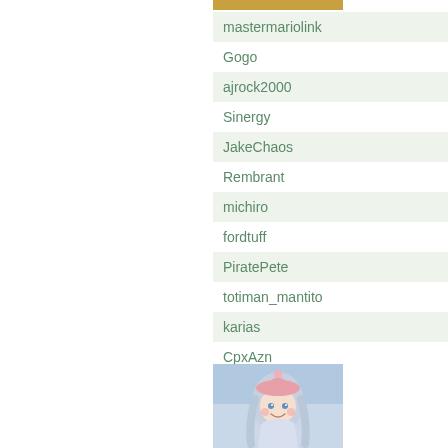mastermariolink
Gogo
ajrock2000
Sinergy
JakeChaos
Rembrant
michiro
fordtuff
PiratePete
totiman_mantito
karias
CpxAzn
[Figure (illustration): Anime-style illustration of a character with long light blue hair wearing a pink hat, appearing cheerful against a light blue background.]